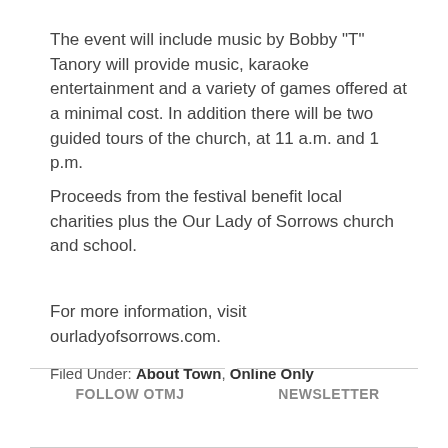The event will include music by Bobby "T" Tanory will provide music, karaoke entertainment and a variety of games offered at a minimal cost. In addition there will be two guided tours of the church, at 11 a.m. and 1 p.m.
Proceeds from the festival benefit local charities plus the Our Lady of Sorrows church and school.
For more information, visit ourladyofsorrows.com.
Filed Under: About Town, Online Only
FOLLOW OTMJ   NEWSLETTER